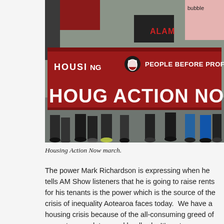[Figure (photo): A protest march with people carrying a large red banner reading 'HOUSING ACTION NOW' and 'PEOPLE BEFORE PROFIT'. Other signs and flags are visible in the background.]
Housing Action Now march.
The power Mark Richardson is expressing when he tells AM Show listeners that he is going to raise rents for his tenants is the power which is the source of the crisis of inequality Aotearoa faces today.  We have a housing crisis because of the all-consuming greed of property speculators and landlords. It's not